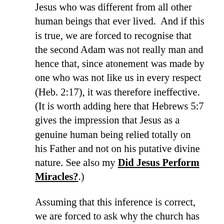Jesus who was different from all other human beings that ever lived.  And if this is true, we are forced to recognise that the second Adam was not really man and hence that, since atonement was made by one who was not like us in every respect (Heb. 2:17), it was therefore ineffective. (It is worth adding here that Hebrews 5:7 gives the impression that Jesus as a genuine human being relied totally on his Father and not on his putative divine nature. See also my Did Jesus Perform Miracles?.)
Assuming that this inference is correct, we are forced to ask why the church has historically made such a basic mistake. I would argue that the problem stems primarily from failure to distinguish between identity and nature. In becoming man the Word did not cease to be who he was for clearly he retained his identity. (2* Cf. Boice who says that Jesus is the Logos who speaks the word of God, p.65. Again he